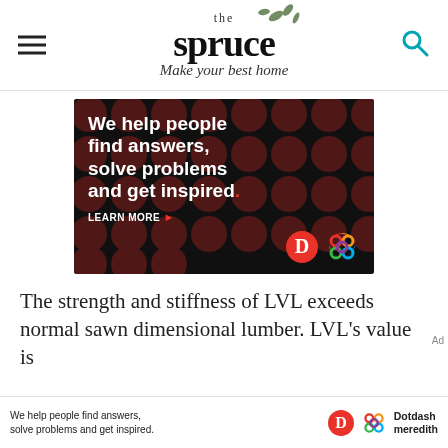the spruce – Make your best home
[Figure (infographic): Advertisement banner on black background with dark red polka dots. Text reads: 'We help people find answers, solve problems and get inspired.' with 'LEARN MORE' button and Dotdash / Meredith logos.]
The strength and stiffness of LVL exceeds normal sawn dimensional lumber. LVL's value is
[Figure (infographic): Bottom sticky ad bar: 'We help people find answers, solve problems and get inspired.' with Dotdash Meredith logo.]